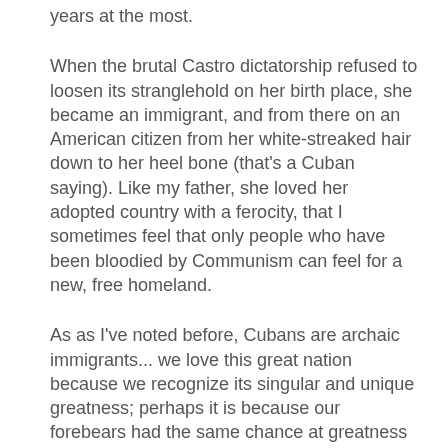years at the most.
When the brutal Castro dictatorship refused to loosen its stranglehold on her birth place, she became an immigrant, and from there on an American citizen from her white-streaked hair down to her heel bone (that's a Cuban saying). Like my father, she loved her adopted country with a ferocity, that I sometimes feel that only people who have been bloodied by Communism can feel for a new, free homeland.
As as I've noted before, Cubans are archaic immigrants... we love this great nation because we recognize its singular and unique greatness; perhaps it is because our forebears had the same chance at greatness and blew it.
I remember as a teenager, once I started going out to parties and things at night on my own (around age 16 or so), that my mother would wait up for me, sitting by the third floor window of our Brooklyn apartment, where she could survey...